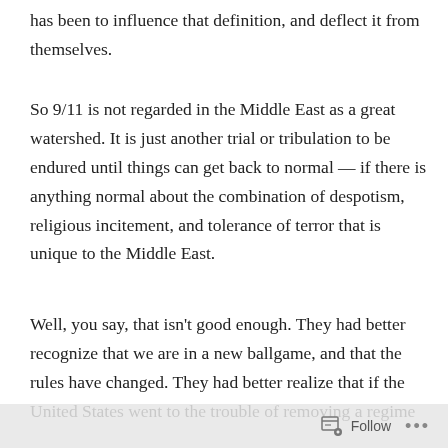has been to influence that definition, and deflect it from themselves.
So 9/11 is not regarded in the Middle East as a great watershed. It is just another trial or tribulation to be endured until things can get back to normal — if there is anything normal about the combination of despotism, religious incitement, and tolerance of terror that is unique to the Middle East.
Well, you say, that isn't good enough. They had better recognize that we are in a new ballgame, and that the rules have changed. They had better realize that if the United States went to the trouble of removing a regime
Follow